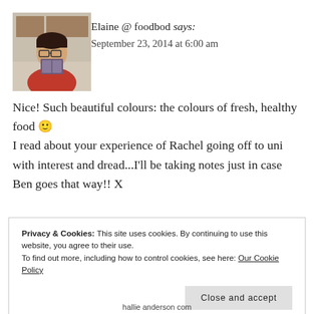[Figure (photo): Avatar photo of Elaine @ foodbod, a person holding a book, wearing glasses, red top, kitchen background]
Elaine @ foodbod says:
September 23, 2014 at 6:00 am
Nice! Such beautiful colours: the colours of fresh, healthy food 🙂 I read about your experience of Rachel going off to uni with interest and dread...I'll be taking notes just in case Ben goes that way!! X
Privacy & Cookies: This site uses cookies. By continuing to use this website, you agree to their use.
To find out more, including how to control cookies, see here: Our Cookie Policy
Close and accept
hallie anderson com